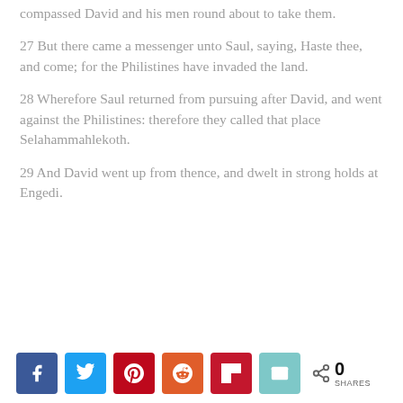compassed David and his men round about to take them.
27 But there came a messenger unto Saul, saying, Haste thee, and come; for the Philistines have invaded the land.
28 Wherefore Saul returned from pursuing after David, and went against the Philistines: therefore they called that place Selahammahlekoth.
29 And David went up from thence, and dwelt in strong holds at Engedi.